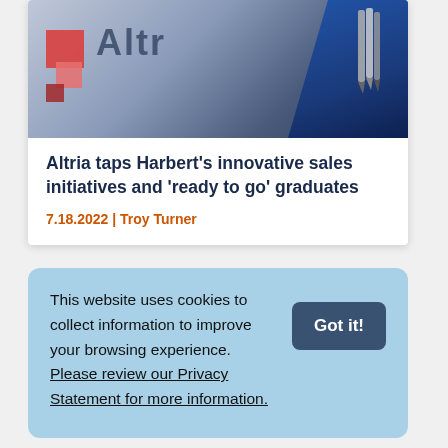[Figure (photo): Photo of an Altria branded folder/document with a colorful geometric logo on the left and silver pens resting on a dark blue fabric background on the right.]
Altria taps Harbert's innovative sales initiatives and 'ready to go' graduates
7.18.2022  |  Troy Turner
This website uses cookies to collect information to improve your browsing experience. Please review our Privacy Statement for more information.